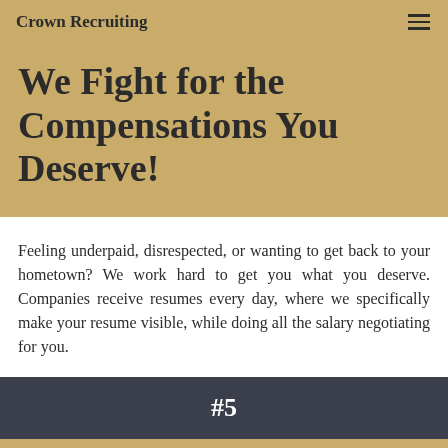Crown Recruiting
We Fight for the Compensations You Deserve!
Feeling underpaid, disrespected, or wanting to get back to your hometown? We work hard to get you what you deserve. Companies receive resumes every day, where we specifically make your resume visible, while doing all the salary negotiating for you.
#5
Are you overloaded with